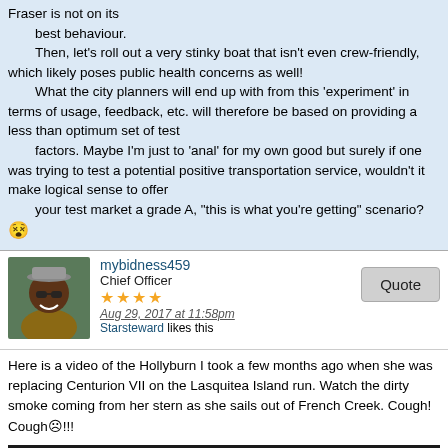Fraser is not on its best behaviour.
    Then, let's roll out a very stinky boat that isn't even crew-friendly, which likely poses public health concerns as well!
    What the city planners will end up with from this 'experiment' in terms of usage, feedback, etc. will therefore be based on providing a less than optimum set of test
    factors. Maybe I'm just to 'anal' for my own good but surely if one was trying to test a potential positive transportation service, wouldn't it make logical sense to offer
    your test market a grade A, "this is what you're getting" scenario? 😵
mybidness459
Chief Officer
★★★★
Aug 29, 2017 at 11:58pm
Starsteward likes this
Here is a video of the Hollyburn I took a few months ago when she was replacing Centurion VII on the Lasquitea Island run. Watch the dirty smoke coming from her stern as she sails out of French Creek. Cough! Cough☹!!!
[Figure (screenshot): Dark/black video player embed area]